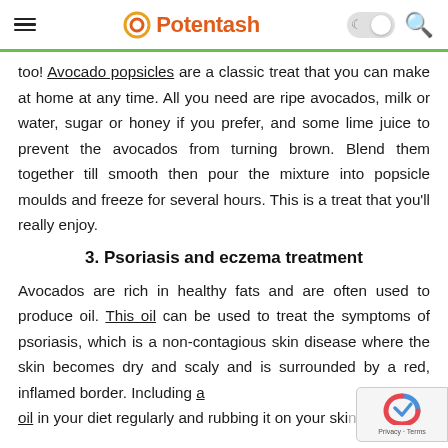Potentash
too! Avocado popsicles are a classic treat that you can make at home at any time. All you need are ripe avocados, milk or water, sugar or honey if you prefer, and some lime juice to prevent the avocados from turning brown. Blend them together till smooth then pour the mixture into popsicle moulds and freeze for several hours. This is a treat that you'll really enjoy.
3. Psoriasis and eczema treatment
Avocados are rich in healthy fats and are often used to produce oil. This oil can be used to treat the symptoms of psoriasis, which is a non-contagious skin disease where the skin becomes dry and scaly and is surrounded by a red, inflamed border. Including avocado oil in your diet regularly and rubbing it on your skin can